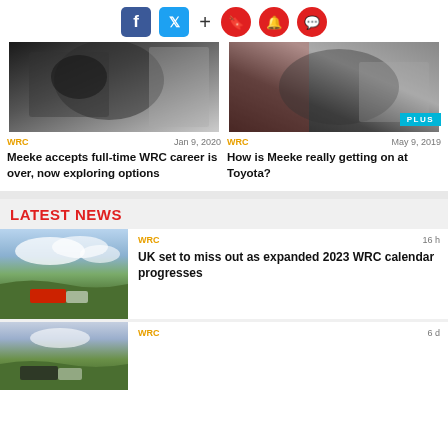[Figure (infographic): Social media icons: Facebook (blue), Twitter (blue), plus sign, and three red circle icons (bookmark, bell, chat)]
[Figure (photo): Rally driver in helmet and race suit seated in car, black and white suit]
[Figure (photo): Rally driver in white suit standing by car door, with PLUS badge overlay]
WRC
Jan 9, 2020
Meeke accepts full-time WRC career is over, now exploring options
WRC
May 9, 2019
How is Meeke really getting on at Toyota?
LATEST NEWS
[Figure (photo): Rally car driving on a hillside road with cloudy sky and green hills]
WRC
16 h
UK set to miss out as expanded 2023 WRC calendar progresses
[Figure (photo): Rally car on a road with green landscape]
WRC
6 d